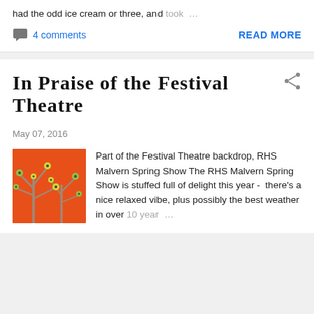had the odd ice cream or three, and took …
4 comments
READ MORE
In Praise of the Festival Theatre
May 07, 2016
[Figure (photo): Orange botanical print with grey branch silhouettes and green/yellow seed heads — festival theatre backdrop detail]
Part of the Festival Theatre backdrop, RHS Malvern Spring Show The RHS Malvern Spring Show is stuffed full of delight this year -  there's a nice relaxed vibe, plus possibly the best weather in over 10 year …